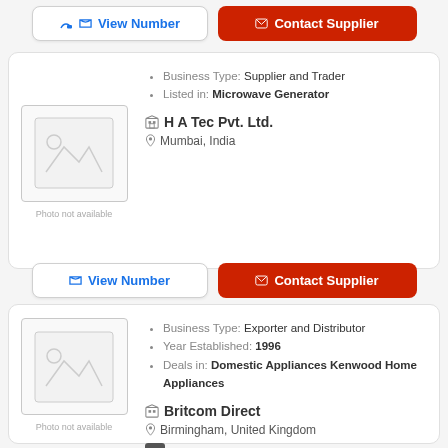View Number | Contact Supplier (top row)
[Figure (other): Photo not available placeholder image for H A Tec Pvt. Ltd.]
Business Type: Supplier and Trader
Listed in: Microwave Generator
H A Tec Pvt. Ltd.
Mumbai, India
View Number | Contact Supplier (second row)
[Figure (other): Photo not available placeholder image for Britcom Direct]
Business Type: Exporter and Distributor
Year Established: 1996
Deals in: Domestic Appliances Kenwood Home Appliances
Britcom Direct
Birmingham, United Kingdom
F